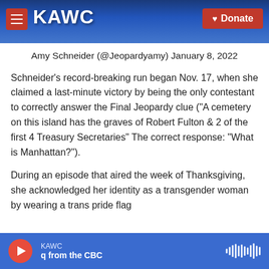KAWC | Donate
Amy Schneider (@Jeopardyamy) January 8, 2022
Schneider's record-breaking run began Nov. 17, when she claimed a last-minute victory by being the only contestant to correctly answer the Final Jeopardy clue ("A cemetery on this island has the graves of Robert Fulton & 2 of the first 4 Treasury Secretaries" The correct response: "What is Manhattan?").
During an episode that aired the week of Thanksgiving, she acknowledged her identity as a transgender woman by wearing a trans pride flag
KAWC | q from the CBC